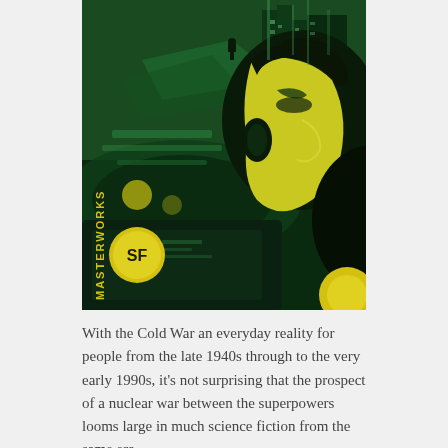[Figure (illustration): SF Masterworks book cover showing a stylized green and yellow sci-fi illustration of a man's profile face in the foreground against a futuristic cityscape background. The SF Masterworks logo (yellow circle with 'SF' text) is visible on the left side, along with vertical text reading 'MASTERWORKS'.]
With the Cold War an everyday reality for people from the late 1940s through to the very early 1990s, it's not surprising that the prospect of a nuclear war between the superpowers looms large in much science fiction from the same era.